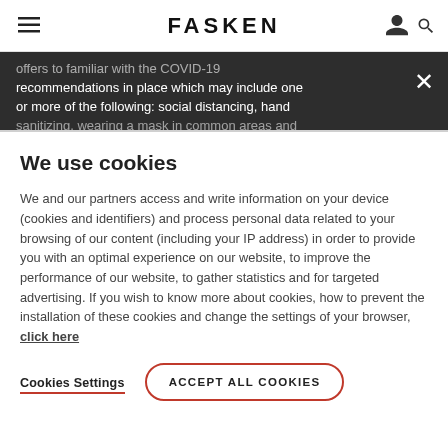FASKEN
recommendations in place which may include one or more of the following: social distancing, hand sanitizing, wearing a mask in common areas and
We use cookies
We and our partners access and write information on your device (cookies and identifiers) and process personal data related to your browsing of our content (including your IP address) in order to provide you with an optimal experience on our website, to improve the performance of our website, to gather statistics and for targeted advertising. If you wish to know more about cookies, how to prevent the installation of these cookies and change the settings of your browser, click here
Cookies Settings
ACCEPT ALL COOKIES